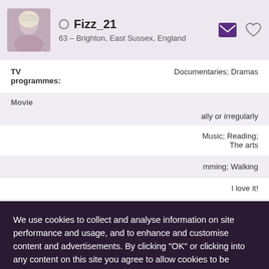Fizz_21 – 63 – Brighton, East Sussex, England
TV programmes: Documentaries; Dramas
Movie
ally or irregularly
Music; Reading; The arts
mming; Walking
I love it!
Food: Fine Dining; French; Gastro Pub; Italian;
We use cookies to collect and analyse information on site performance and usage, and to enhance and customise content and advertisements. By clicking "OK" or clicking into any content on this site you agree to allow cookies to be placed. To find out more or to change your cookie settings, visit the cookies section of our Privacy Policy.